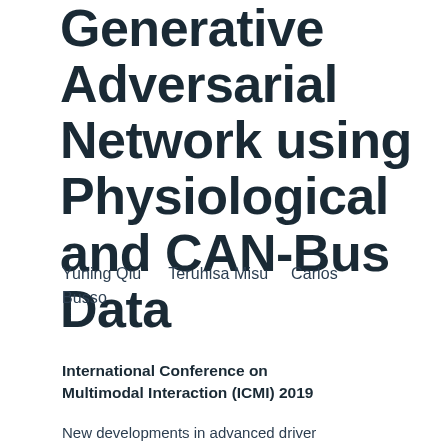Generative Adversarial Network using Physiological and CAN-Bus Data
Yuning Qiu    Teruhisa Misu    Carlos Busso
International Conference on Multimodal Interaction (ICMI) 2019
New developments in advanced driver